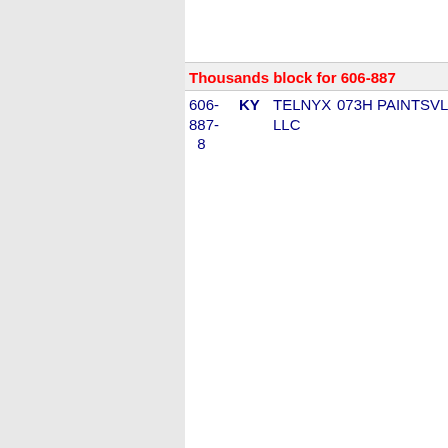Thousands block for 606-887
| Number | State | Carrier | Code | City |
| --- | --- | --- | --- | --- |
| 606-887-8 | KY | TELNYX LLC | 073H | PAINTSVL |
Thousands block for 606-934
| Number | State | Carrier | Code | City |
| --- | --- | --- | --- | --- |
| 606-934-8 | KY | TELNYX LLC | 073H | MAYSVILLE |